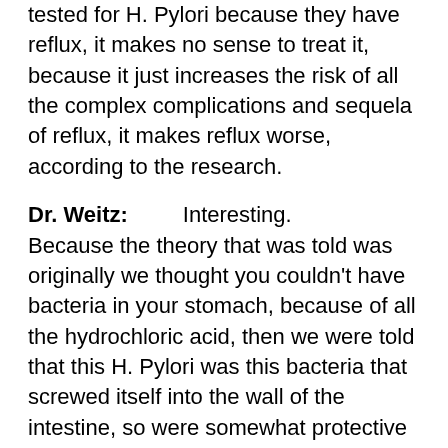tested for H. Pylori because they have reflux, it makes no sense to treat it, because it just increases the risk of all the complex complications and sequela of reflux, it makes reflux worse, according to the research.
Dr. Weitz: Interesting. Because the theory that was told was originally we thought you couldn't have bacteria in your stomach, because of all the hydrochloric acid, then we were told that this H. Pylori was this bacteria that screwed itself into the wall of the intestine, so were somewhat protective and that it leads to ulcers because the body has to secrete hydrochloric acid to try to get rid of it, and it can't get rid of it because it's buried into the wall, and